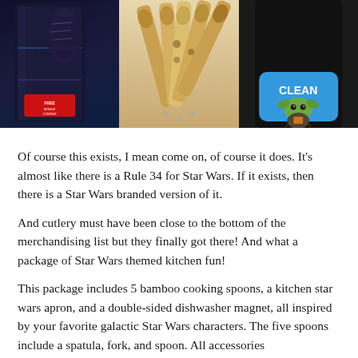[Figure (photo): Three product images side by side: a Star Wars themed box/package on the left with dark sci-fi imagery, five bamboo cooking spoons with Star Wars character engravings in the middle, and a dark apron with a 'CLEAN' Baby Yoda (Grogu) dishwasher magnet on the right.]
Of course this exists, I mean come on, of course it does. It's almost like there is a Rule 34 for Star Wars. If it exists, then there is a Star Wars branded version of it.
And cutlery must have been close to the bottom of the merchandising list but they finally got there! And what a package of Star Wars themed kitchen fun!
This package includes 5 bamboo cooking spoons, a kitchen star wars apron, and a double-sided dishwasher magnet, all inspired by your favorite galactic Star Wars characters. The five spoons include a spatula, fork, and spoon. All accessories